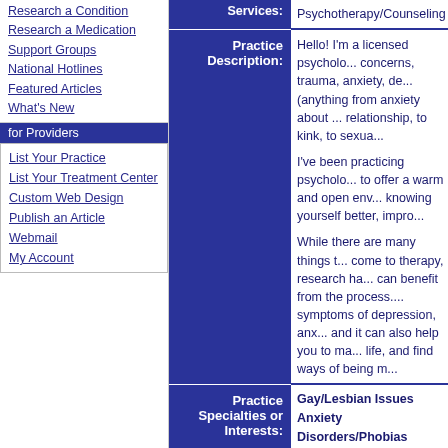Research a Condition
Research a Medication
Support Groups
National Hotlines
Featured Articles
What's New
for Providers
List Your Practice
List Your Treatment Center
Custom Web Design
Publish an Article
Webmail
My Account
| Services: | Psychotherapy/Counseling |
| --- | --- |
| Practice Description: |  |
| --- | --- |
|  | Hello! I'm a licensed psycholo... concerns, trauma, anxiety, de... (anything from anxiety about ... relationship, to kink, to sexua... |
|  | I've been practicing psycholo... to offer a warm and open env... knowing yourself better, impro... |
|  | While there are many things t... come to therapy, research ha... can benefit from the process.... symptoms of depression, anx... and it can also help you to ma... life, and find ways of being m... |
| Practice Specialties or Interests: |  |
| --- | --- |
| (Strengths are in bold text) | Gay/Lesbian Issues
Anxiety Disorders/Phobias
Depression
Adjustment Disorder
Anger Management
Crisis/Trauma
Gender Identity
Grief/Loss
HIV/AIDS-related Issues
Infertility Issues
Infidelity
Life Transitions
Men's Issues |